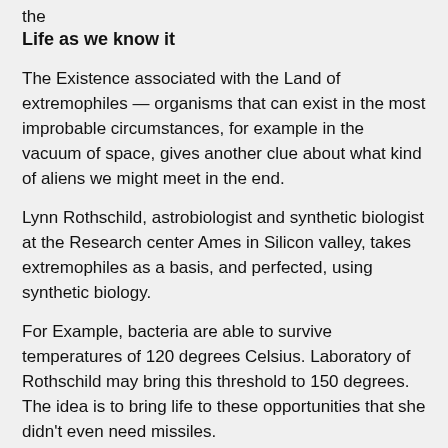the
Life as we know it
The Existence associated with the Land of extremophiles — organisms that can exist in the most improbable circumstances, for example in the vacuum of space, gives another clue about what kind of aliens we might meet in the end.
Lynn Rothschild, astrobiologist and synthetic biologist at the Research center Ames in Silicon valley, takes extremophiles as a basis, and perfected, using synthetic biology.
For Example, bacteria are able to survive temperatures of 120 degrees Celsius. Laboratory of Rothschild may bring this threshold to 150 degrees. The idea is to bring life to these opportunities that she didn't even need missiles.
Although scientists can't agree on where, how and what we will find in the search for extraterrestrial life, most of them believe the following: alien life must exist.
"I would be surprised if aliens did not exist," says Levin. "Few things could shock me more than the conclusion that aliens do not exist. If I had to bet, I'd bet everything on the fact that